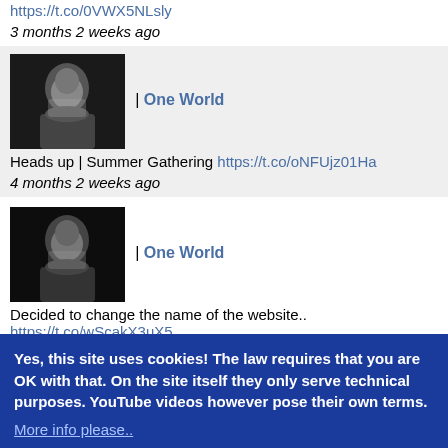https://t.co/0VWX5NLsly
3 months 2 weeks ago
[Figure (photo): Black and white portrait photo of a bearded older man]
| One World
Heads up | Summer Gathering https://t.co/oNFUjz01Ha
4 months 2 weeks ago
[Figure (photo): Black and white portrait photo of a bearded older man]
| One World
Decided to change the name of the website..
https://t.co/wScakX3uX5
5 months 1 week ago
[Figure (logo): Circular logo with script letter P on dark teal background]
| Paul Hillery
@bigmuffsite found this but didn't see it on your concert list https://t.co/NurVAf1AVs
Yes, this site uses cookies! The law requires that you are OK with that. On the site itself they only serve technical purposes. YouTube videos however pose their own terms.
More info please..